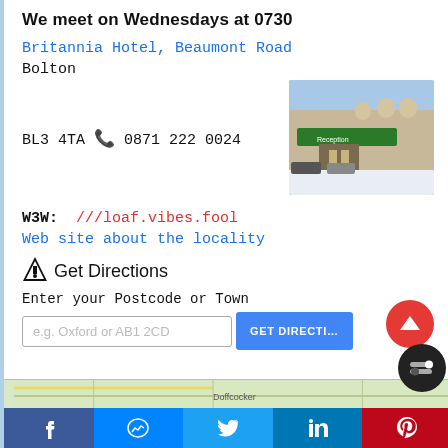We meet on Wednesdays at 0730
Britannia Hotel, Beaumont Road
Bolton
BL3 4TA 📞 0871 222 0024
[Figure (photo): Photo of Britannia Hotel exterior with green Reception canopy, arched windows, snowy foreground]
W3W: ///loaf.vibes.fool
Web site about the locality
Get Directions
Enter your Postcode or Town
e.g. Oxford or AB1 2CD
[Figure (map): Partial map strip showing Doffcocker area]
Facebook | Messenger | Twitter | LinkedIn | Pinterest